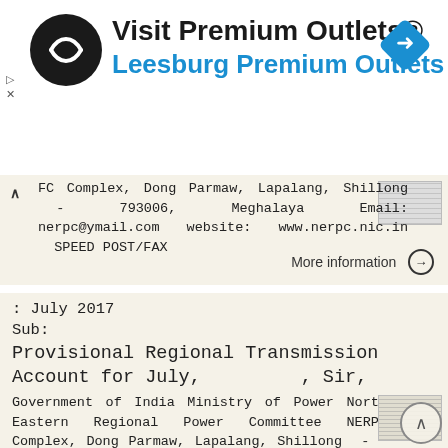[Figure (other): Advertisement banner for Visit Premium Outlets® / Leesburg Premium Outlets with circular black logo and blue diamond navigation icon]
FC Complex, Dong Parmaw, Lapalang, Shillong - 793006, Meghalaya Email: nerpc@ymail.com website: www.nerpc.nic.in SPEED POST/FAX
More information →
: July 2017                                       Sub: Provisional Regional Transmission Account for July,          , Sir,
Government of India Ministry of Power North Eastern Regional Power Committee NERPC Complex, Dong Parmaw, Lapalang, Shillong - 793006, Meghalaya Email: nerpc@ymail.com website: www.nerpc.nic.in SPEED POST/FAX